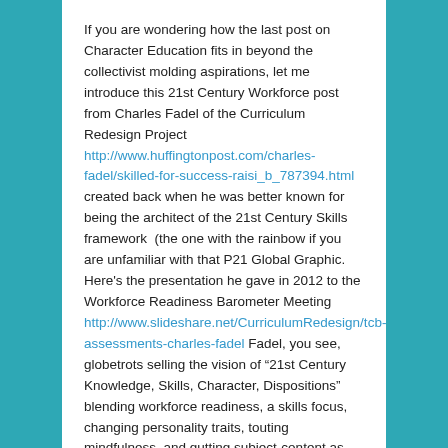If you are wondering how the last post on Character Education fits in beyond the collectivist molding aspirations, let me introduce this 21st Century Workforce post from Charles Fadel of the Curriculum Redesign Project http://www.huffingtonpost.com/charles-fadel/skilled-for-success-raisi_b_787394.html created back when he was better known for being the architect of the 21st Century Skills framework  (the one with the rainbow if you are unfamiliar with that P21 Global Graphic. Here’s the presentation he gave in 2012 to the Workforce Readiness Barometer Meeting http://www.slideshare.net/CurriculumRedesign/tcb-assessments-charles-fadel Fadel, you see, globetrots selling the vision of “21st Century Knowledge, Skills, Character, Dispositions” blending workforce readiness, a skills focus, changing personality traits, touting mindfulness, and gutting subject-content as the purpose of K-12 education.
The last post’s Eleven Principles were just the US directed component of a global movement with the same vision of